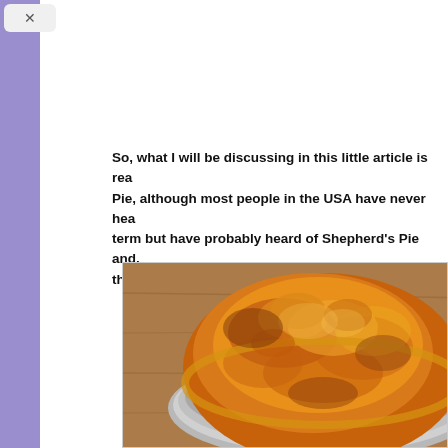So, what I will be discussing in this little article is really about Meat Pie, although most people in the USA have never heard of the term but have probably heard of Shepherd's Pie and, most probably thought they knew what it was.
[Figure (photo): A golden-brown baked meat pie in a round aluminium foil tray, viewed from above at a slight angle, sitting on a wooden surface. The pastry top is glossy and deeply browned.]